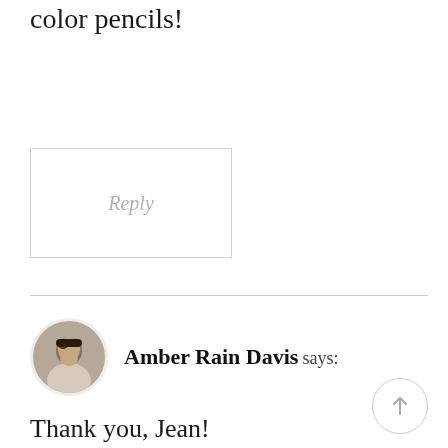This is so very pretty. Loving the color pencils!
Reply
Amber Rain Davis says:
Thank you, Jean!